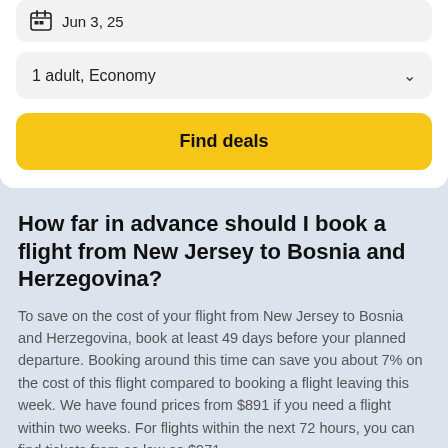Jun 3, 25
1 adult, Economy
Find deals
How far in advance should I book a flight from New Jersey to Bosnia and Herzegovina?
To save on the cost of your flight from New Jersey to Bosnia and Herzegovina, book at least 49 days before your planned departure. Booking around this time can save you about 7% on the cost of this flight compared to booking a flight leaving this week. We have found prices from $891 if you need a flight within two weeks. For flights within the next 72 hours, you can find tickets from as low as $971.